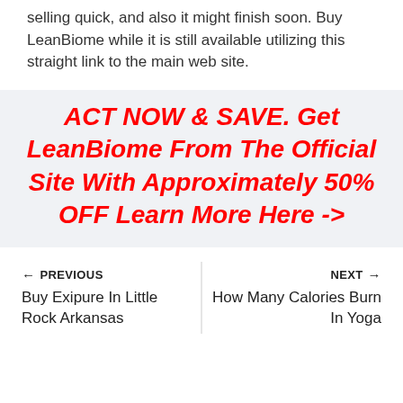selling quick, and also it might finish soon. Buy LeanBiome while it is still available utilizing this straight link to the main web site.
ACT NOW & SAVE. Get LeanBiome From The Official Site With Approximately 50% OFF Learn More Here ->
← PREVIOUS | Buy Exipure In Little Rock Arkansas | NEXT → | How Many Calories Burn In Yoga